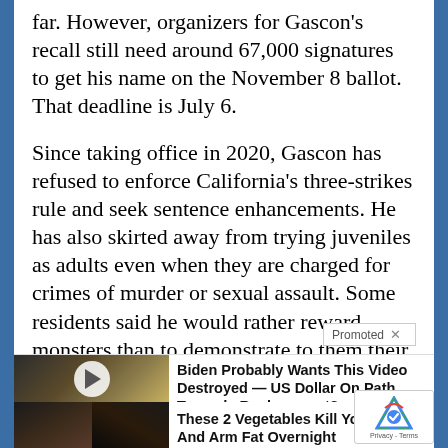far. However, organizers for Gascon's recall still need around 67,000 signatures to get his name on the November 8 ballot. That deadline is July 6.
Since taking office in 2020, Gascon has refused to enforce California's three-strikes rule and seek sentence enhancements. He has also skirted away from trying juveniles as adults even when they are charged for crimes of murder or sexual assault. Some residents said he would rather reward monsters than to demonstrate to them their actions have consequences.
[Figure (screenshot): Promoted ad: Biden Probably Wants This Video Destroyed — US Dollar On Path Towards Replacement? with thumbnail of a man in a suit at a news desk with a play button overlay]
[Figure (screenshot): Promoted ad: These 2 Vegetables Kill Your Belly And Arm Fat Overnight with thumbnail showing two views of a woman's back in black athletic wear]